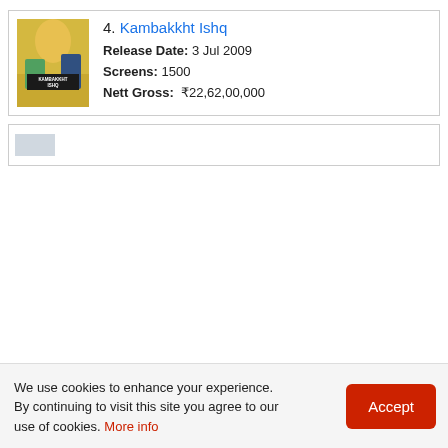[Figure (photo): Movie poster thumbnail for Kambakkht Ishq showing two people and the movie title text on a colorful background]
4. Kambakkht Ishq
Release Date: 3 Jul 2009
Screens: 1500
Nett Gross: ₹22,62,00,000
[Figure (photo): Partial movie card visible at bottom of page, cut off]
We use cookies to enhance your experience. By continuing to visit this site you agree to our use of cookies. More info